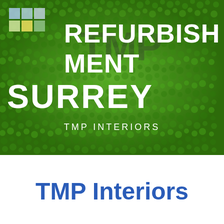[Figure (photo): Background photo of a green moss wall with TMP Interiors logo (colored squares grid) in top left, and overlaid white bold text reading REFURBISHMENT MENT SURREY and TMP INTERIORS]
TMP Interiors